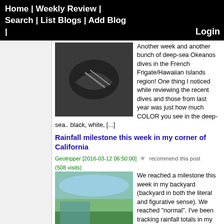Home | Weekly Review | Search | List Blogs | Add Blog | Login
Another week and another bunch of deep-sea Okeanos dives in the French Frigate/Hawaiian Islands region! One thing I noticed while reviewing the recent dives and those from last year was just how much COLOR you see in the deep-sea.. black, white, [...]
Rainfall milestone this week in my corner of California
Geotripper [2016-03-12 06:50:00] ★ recommend this post (508 visits)
We reached a milestone this week in my backyard (backyard in both the literal and figurative sense). We reached "normal". I've been tracking rainfall totals in my backyard since 1991, and up until 2011, the average yearly rainfall has been [...]
Arizona is Going to Get Another Meteor Crater, Only Bigger. And We Know Where and Why (repost)
Geotripper [2016-03-12 01:51:00] ★ recommend this post (493 visits)
This is a repeat of a post I wrote in